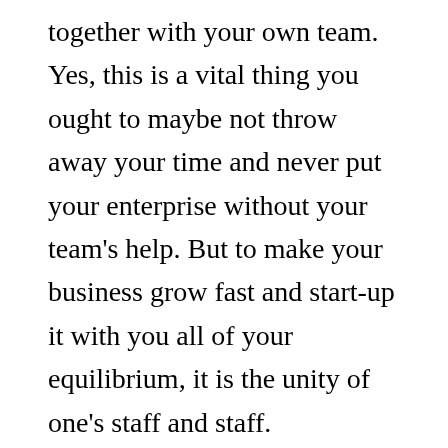together with your own team. Yes, this is a vital thing you ought to maybe not throw away your time and never put your enterprise without your team's help. But to make your business grow fast and start-up it with you all of your equilibrium, it is the unity of one's staff and staff.
The best way to Initiate a retail Store like a real company?
If You're the one who Would like to OPEN A